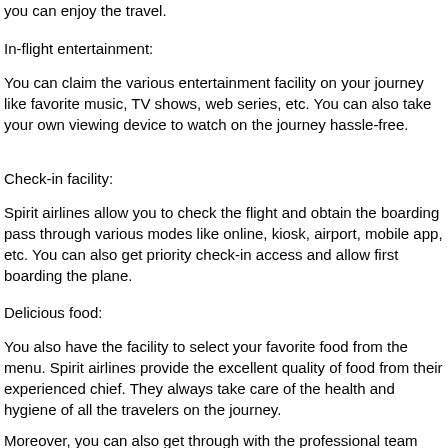you can enjoy the travel.
In-flight entertainment:
You can claim the various entertainment facility on your journey like favorite music, TV shows, web series, etc. You can also take your own viewing device to watch on the journey hassle-free.
Check-in facility:
Spirit airlines allow you to check the flight and obtain the boarding pass through various modes like online, kiosk, airport, mobile app, etc. You can also get priority check-in access and allow first boarding the plane.
Delicious food:
You also have the facility to select your favorite food from the menu. Spirit airlines provide the excellent quality of food from their experienced chief. They always take care of the health and hygiene of all the travelers on the journey.
Moreover, you can also get through with the professional team